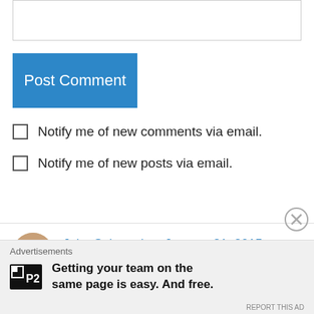[Figure (other): Text input box / textarea (empty form field)]
Post Comment
Notify me of new comments via email.
Notify me of new posts via email.
John Salmond on January 31, 2015 at 11:31 AM
The problem is the school, and so it is yours as parent. No good reason whatsoever to download an app today rather than overnight. School
Advertisements
Getting your team on the same page is easy. And free.